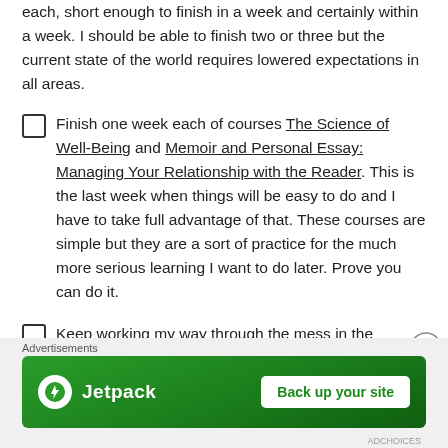each, short enough to finish in a week and certainly within a week. I should be able to finish two or three but the current state of the world requires lowered expectations in all areas.
Finish one week each of courses The Science of Well-Being and Memoir and Personal Essay: Managing Your Relationship with the Reader. This is the last week when things will be easy to do and I have to take full advantage of that. These courses are simple but they are a sort of practice for the much more serious learning I want to do later. Prove you can do it.
Keep working my way through the mess in the "creativity room". Like all major cleaning projects it looks worse the moment you try to make it better but the more
Advertisements
[Figure (illustration): Jetpack advertisement banner with green background. Left side shows Jetpack logo (white circle with lightning bolt icon) and 'Jetpack' text in white. Right side shows a white button with green text 'Back up your site'.]